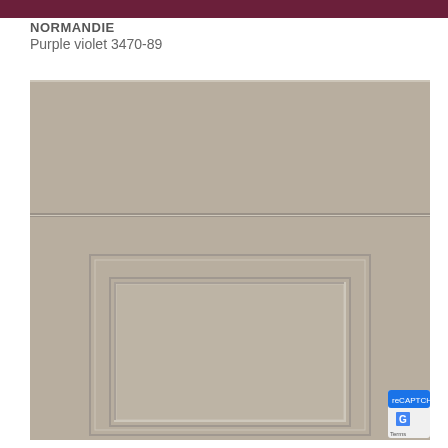NORMANDIE
Purple violet 3470-89
[Figure (photo): Close-up photo of a Normandie kitchen cabinet door panel in a warm grey/taupe paint finish (Purple violet 3470-89), showing a flat drawer front above and a raised panel lower door with classic routing detail below. The finish is smooth matte.]